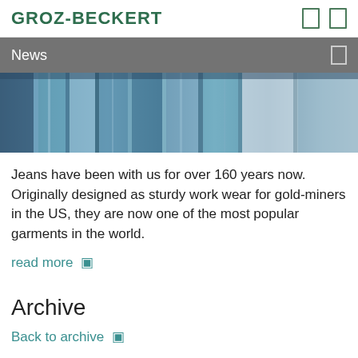GROZ-BECKERT
News
[Figure (photo): Close-up photograph of multiple pairs of blue denim jeans hanging or folded together, showing various shades of blue denim fabric.]
Jeans have been with us for over 160 years now. Originally designed as sturdy work wear for gold-miners in the US, they are now one of the most popular garments in the world.
read more
Archive
Back to archive